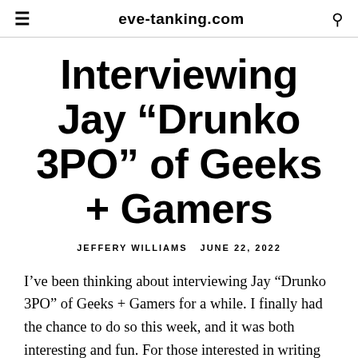eve-tanking.com
Interviewing Jay “Drunko 3PO” of Geeks + Gamers
JEFFERY WILLIAMS   JUNE 22, 2022
I’ve been thinking about interviewing Jay “Drunko 3PO” of Geeks + Gamers for a while. I finally had the chance to do so this week, and it was both interesting and fun. For those interested in writing an article on Drunko 3PO, check out